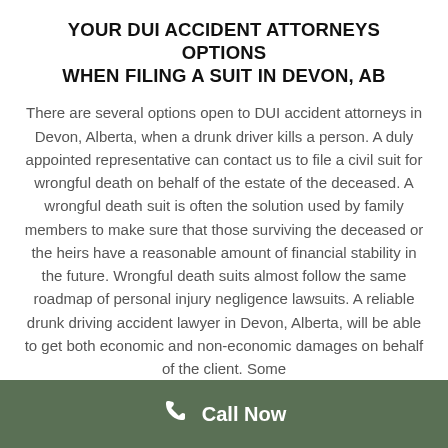YOUR DUI ACCIDENT ATTORNEYS OPTIONS WHEN FILING A SUIT IN DEVON, AB
There are several options open to DUI accident attorneys in Devon, Alberta, when a drunk driver kills a person. A duly appointed representative can contact us to file a civil suit for wrongful death on behalf of the estate of the deceased. A wrongful death suit is often the solution used by family members to make sure that those surviving the deceased or the heirs have a reasonable amount of financial stability in the future. Wrongful death suits almost follow the same roadmap of personal injury negligence lawsuits. A reliable drunk driving accident lawyer in Devon, Alberta, will be able to get both economic and non-economic damages on behalf of the client. Some
Call Now